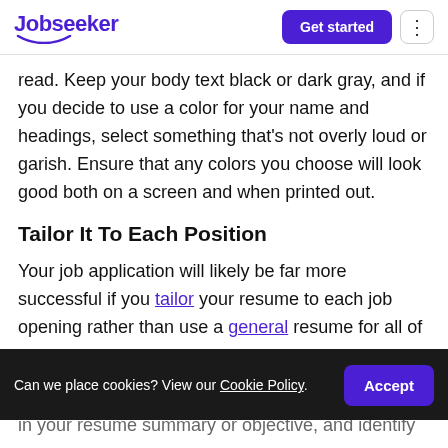Jobseeker — Get started
read. Keep your body text black or dark gray, and if you decide to use a color for your name and headings, select something that's not overly loud or garish. Ensure that any colors you choose will look good both on a screen and when printed out.
Tailor It To Each Position
Your job application will likely be far more successful if you tailor your resume to each job opening rather than use a general resume for all of
Can we place cookies? View our Cookie Policy.
in your resume summary or objective, and identify